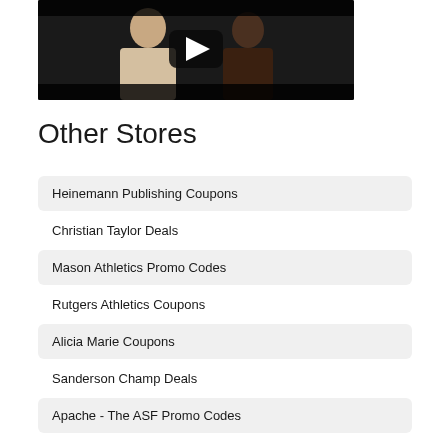[Figure (screenshot): YouTube video thumbnail showing two people in a dark scene with a play button overlay]
Other Stores
Heinemann Publishing Coupons
Christian Taylor Deals
Mason Athletics Promo Codes
Rutgers Athletics Coupons
Alicia Marie Coupons
Sanderson Champ Deals
Apache - The ASF Promo Codes
Joe Gallagher Coupons